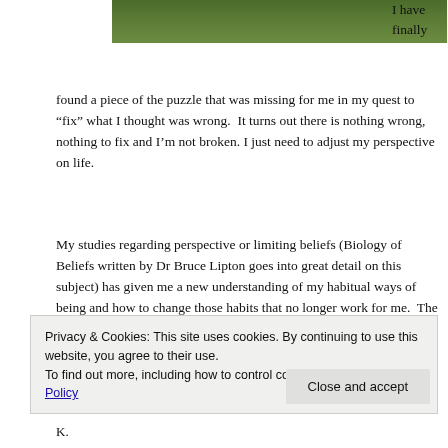[Figure (photo): Green grass/lawn photo cropped at top of page]
I have finally found a piece of the puzzle that was missing for me in my quest to “fix” what I thought was wrong.  It turns out there is nothing wrong, nothing to fix and I’m not broken. I just need to adjust my perspective on life.
My studies regarding perspective or limiting beliefs (Biology of Beliefs written by Dr Bruce Lipton goes into great detail on this subject) has given me a new understanding of my habitual ways of being and how to change those habits that no longer work for me.  The exploration of the limiting beliefs that had me going through life repeating scenarios (have you
Privacy & Cookies: This site uses cookies. By continuing to use this website, you agree to their use.
To find out more, including how to control cookies, see here: Cookie Policy
Close and accept
K.